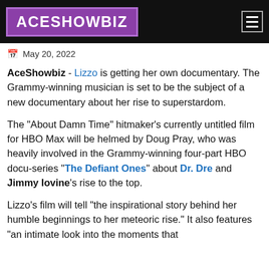ACESHOWBIZ
May 20, 2022
AceShowbiz - Lizzo is getting her own documentary. The Grammy-winning musician is set to be the subject of a new documentary about her rise to superstardom.
The "About Damn Time" hitmaker's currently untitled film for HBO Max will be helmed by Doug Pray, who was heavily involved in the Grammy-winning four-part HBO docu-series "The Defiant Ones" about Dr. Dre and Jimmy Iovine's rise to the top.
Lizzo's film will tell "the inspirational story behind her humble beginnings to her meteoric rise." It also features "an intimate look into the moments that